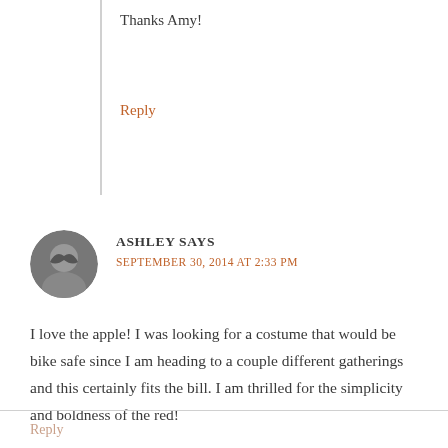Thanks Amy!
Reply
ASHLEY SAYS
SEPTEMBER 30, 2014 AT 2:33 PM
I love the apple! I was looking for a costume that would be bike safe since I am heading to a couple different gatherings and this certainly fits the bill. I am thrilled for the simplicity and boldness of the red!
Reply